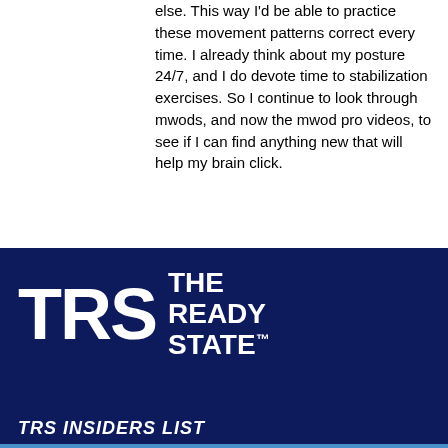else.  This way I'd be able to practice these movement patterns correct every time.  I already think about my posture 24/7, and I do devote time to stabilization exercises.  So I continue to look through mwods, and now the mwod pro videos, to see if I can find anything new that will help my brain click.
[Figure (logo): TRS The Ready State logo — white bold letters 'TRS' and text 'THE READY STATE™' on dark navy background]
TRS INSIDERS LIST